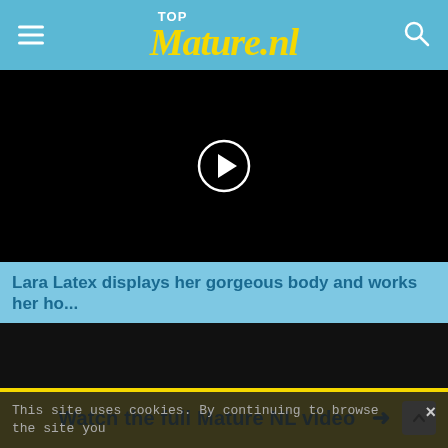TOP Mature.nl
[Figure (screenshot): Black video player with white circular play button in center]
Lara Latex displays her gorgeous body and works her ho...
[Figure (screenshot): Dark video thumbnail]
This site uses cookies. By continuing to browse the site you
Watch the full Mature NL video →